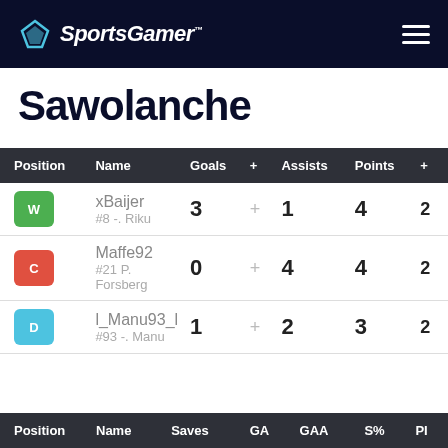SportsGamer
Sawolanche
| Position | Name | Goals | + | Assists | Points | + |
| --- | --- | --- | --- | --- | --- | --- |
| W | xBaijer
#8 -. Riku | 3 | + | 1 | 4 | 2 |
| C | Maffe92
#21 P. Forsberg | 0 | + | 4 | 4 | 2 |
| D | l_Manu93_l
#93 -. Manu | 1 | + | 2 | 3 | 2 |
| Position | Name | Saves | GA | GAA | S% | PI |
| --- | --- | --- | --- | --- | --- | --- |